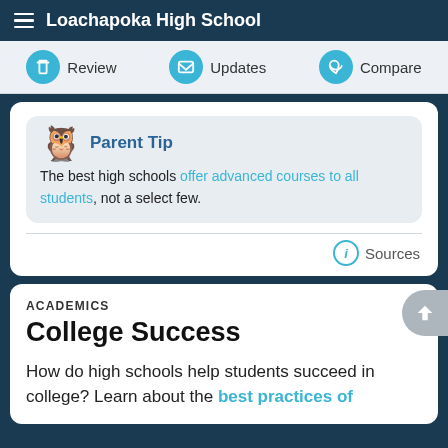Loachapoka High School
Review | Updates | Compare
Parent Tip
The best high schools offer advanced courses to all students, not a select few.
Sources
ACADEMICS
College Success
How do high schools help students succeed in college? Learn about the best practices of